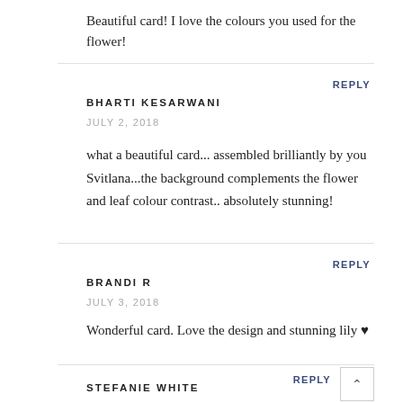Beautiful card! I love the colours you used for the flower!
REPLY
BHARTI KESARWANI
JULY 2, 2018
what a beautiful card... assembled brilliantly by you Svitlana...the background complements the flower and leaf colour contrast.. absolutely stunning!
REPLY
BRANDI R
JULY 3, 2018
Wonderful card. Love the design and stunning lily ♥
REPLY
STEFANIE WHITE
JULY 3, 2018